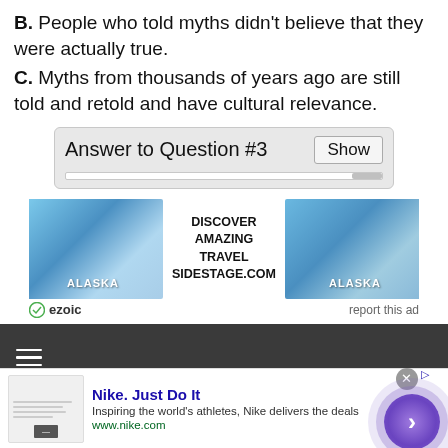B. People who told myths didn't believe that they were actually true.
C. Myths from thousands of years ago are still told and retold and have cultural relevance.
[Figure (screenshot): Answer to Question #3 box with Show button and scrollbar]
[Figure (screenshot): Travel advertisement for ALASKA on SIDESTAGE.COM with ezoic branding and report this ad link]
[Figure (screenshot): Dark navigation bar with hamburger menu icon]
[Figure (screenshot): Nike Just Do It advertisement with purple circle arrow button and close X button]